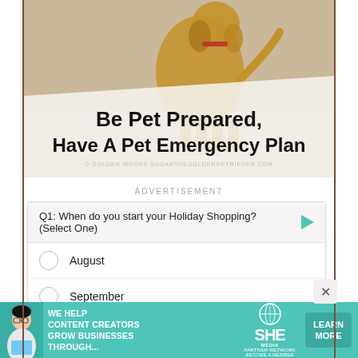[Figure (photo): Photo of a golden retriever dog outdoors with text overlay reading 'Be Pet Prepared, Have A Pet Emergency Plan' and watermark '© GOLDEN WOOFS SUGARTHEGOLDENRETRIEVER.COM']
ADVERTISEMENT
Q1: When do you start your Holiday Shopping? (Select One)
August
September
October
[Figure (infographic): SHE Partner Network advertisement banner with teal background: 'WE HELP CONTENT CREATORS GROW BUSINESSES THROUGH...' with LEARN MORE button]